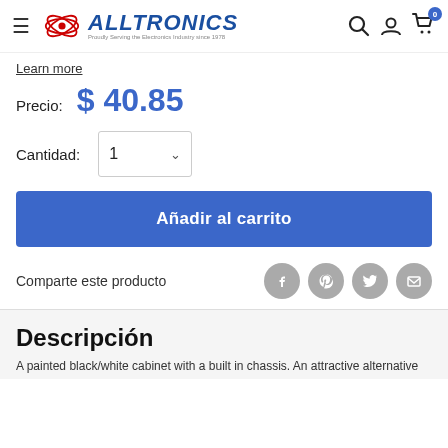ALLTRONICS — Proudly Serving the Electronics Industry since 1978
Learn more
Precio: $ 40.85
Cantidad: 1
Añadir al carrito
Comparte este producto
Descripción
A painted black/white cabinet with a built in chassis. An attractive alternative